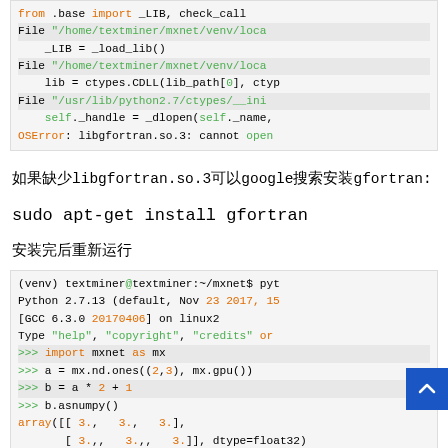[Figure (screenshot): Code block showing Python traceback with from .base import _LIB, check_call, File paths, _LIB = _load_lib(), lib = ctypes.CDLL(lib_path[0], ctyp, File /usr/lib/python2.7/ctypes/__ini, self._handle = _dlopen(self._name, and OSError: libgfortran.so.3: cannot open]
如果缺少libgfortran.so.3可以google搜索安装gfortran:
sudo apt-get install gfortran
安装完后重新运行
[Figure (screenshot): Python interactive session: (venv) textminer@textminer:~/mxnet$ pyt, Python 2.7.13 (default, Nov 23 2017, 15, [GCC 6.3.0 20170406] on linux2, Type "help", "copyright", "credits" or, >>> import mxnet as mx, >>> a = mx.nd.ones((2,3), mx.gpu()), >>> b = a * 2 + 1, >>> b.asnumpy(), array([[ 3.,  3.,  3.],, [ 3.,  3.,  3.]], dtype=float32)]